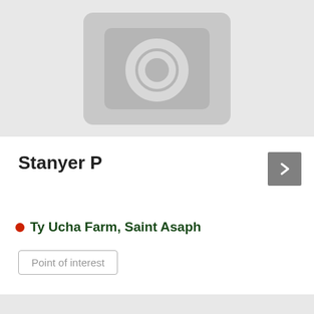[Figure (photo): Gray placeholder rectangle with a camera icon (rounded rectangle with circle) indicating no photo available]
Stanyer P
Ty Ucha Farm, Saint Asaph
Point of interest
Read more ...